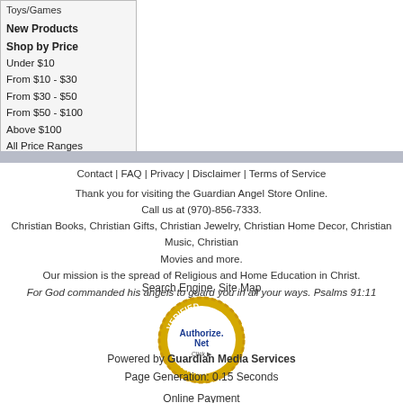Toys/Games
New Products
Shop by Price
Under $10
From $10 - $30
From $30 - $50
From $50 - $100
Above $100
All Price Ranges
Contact | FAQ | Privacy | Disclaimer | Terms of Service
Thank you for visiting the Guardian Angel Store Online.
Call us at (970)-856-7333.
Christian Books, Christian Gifts, Christian Jewelry, Christian Home Decor, Christian Music, Christian Movies and more.
Our mission is the spread of Religious and Home Education in Christ.
For God commanded his angels to guard you in all your ways. Psalms 91:11
Search Engine Site Map
[Figure (logo): Authorize.Net Verified Merchant seal with gold border and blue Authorize.Net logo with Click arrow]
Online Payment Processing
Powered by Guardian Media Services
Page Generation: 0.15 Seconds